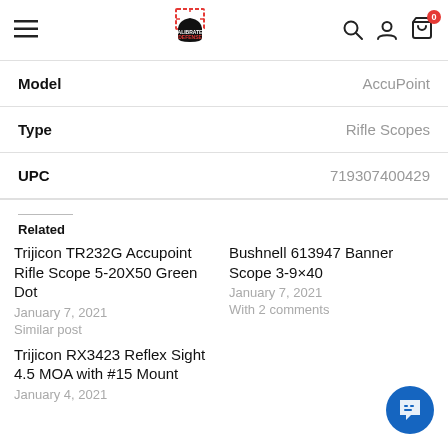Calibrated Defense — navigation header with search, account, and cart icons
| Field | Value |
| --- | --- |
| Model | AccuPoint |
| Type | Rifle Scopes |
| UPC | 719307400429 |
Related
Trijicon TR232G Accupoint Rifle Scope 5-20X50 Green Dot — January 7, 2021 — Similar post
Bushnell 613947 Banner Scope 3-9×40 — January 7, 2021 — With 2 comments
Trijicon RX3423 Reflex Sight 4.5 MOA with #15 Mount — January 4, 2021